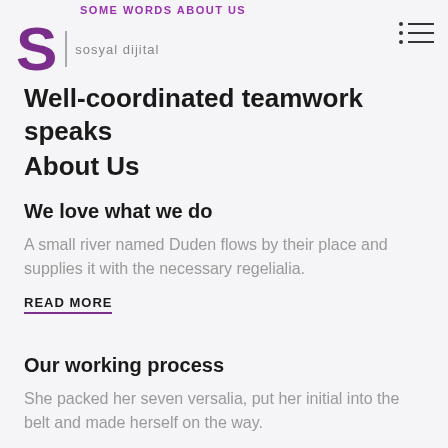SOME WORDS ABOUT US
[Figure (logo): Sosyal Dijital logo: large purple S with a vertical divider and 'sosyal dijital' text beside it]
Well-coordinated teamwork speaks About Us
We love what we do
A small river named Duden flows by their place and supplies it with the necessary regelialia.
READ MORE
Our working process
She packed her seven versalia, put her initial into the belt and made herself on the way.
READ MORE